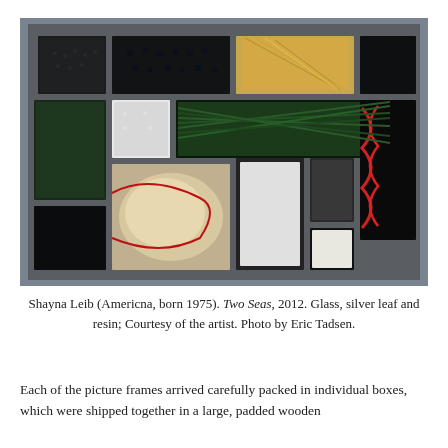[Figure (photo): Photograph of an art installation titled 'Two Seas' by Shayna Leib (2012), showing arranged compartments containing various natural and glass materials including beads, fibers, feathers, plant-like structures in black, green, gold, red, and white colors on a grey background.]
Shayna Leib (Americna, born 1975). Two Seas, 2012. Glass, silver leaf and resin; Courtesy of the artist. Photo by Eric Tadsen.
Each of the picture frames arrived carefully packed in individual boxes, which were shipped together in a large, padded wooden